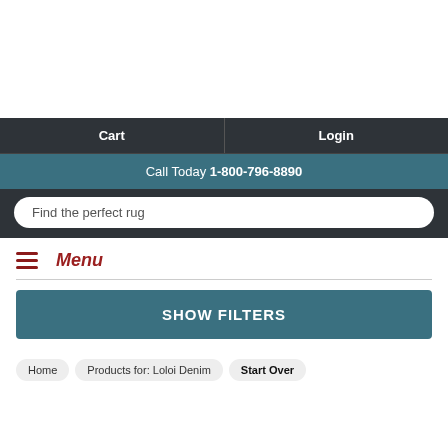Cart | Login
Call Today 1-800-796-8890
Find the perfect rug
Menu
SHOW FILTERS
Home · Products for: Loloi Denim · Start Over